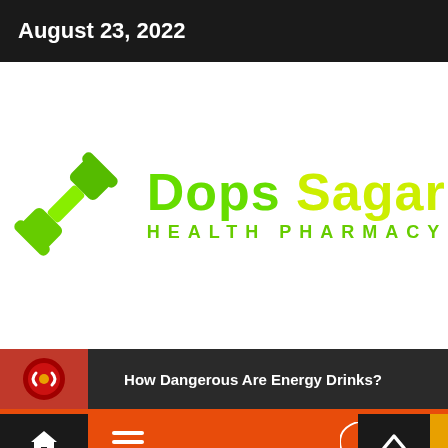August 23, 2022
[Figure (logo): Dops Sagar Health Pharmacy logo with green dumbbell icon and text 'Dops Sagar' in green/yellow gradient and 'HEALTH PHARMACY' in green below]
How Dangerous Are Energy Drinks?